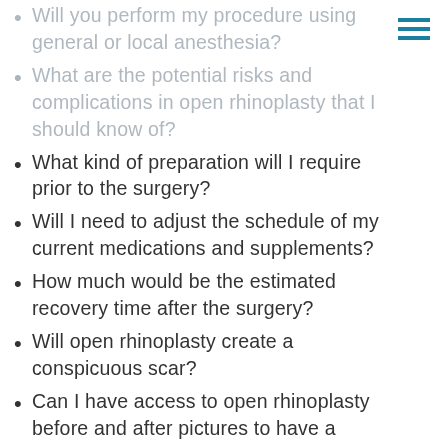Will you perform my procedure using general or local anesthesia?
What are the potential risks and complications in open rhinoplasty that I should know of?
What kind of preparation will I require prior to the surgery?
Will I need to adjust the schedule of my current medications and supplements?
How much would be the estimated recovery time after the surgery?
Will open rhinoplasty create a conspicuous scar?
Can I have access to open rhinoplasty before and after pictures to have a